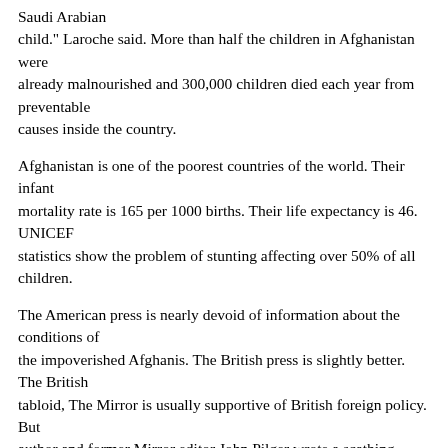Saudi Arabian child." Laroche said. More than half the children in Afghanistan were already malnourished and 300,000 children died each year from preventable causes inside the country.
Afghanistan is one of the poorest countries of the world. Their infant mortality rate is 165 per 1000 births. Their life expectancy is 46. UNICEF statistics show the problem of stunting affecting over 50% of all children.
The American press is nearly devoid of information about the conditions of the impoverished Afghanis. The British press is slightly better. The British tabloid, The Mirror is usually supportive of British foreign policy. But author and former Mirror editor John Pilger wrote a scathing critique of Downing Street's Afghan policy. "One of the poorest, most stricken nations has been terrorized by the most powerful - to the point where American pilots